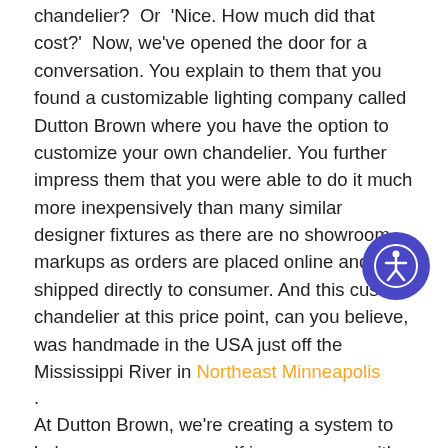chandelier? Or 'Nice. How much did that cost?' Now, we've opened the door for a conversation. You explain to them that you found a customizable lighting company called Dutton Brown where you have the option to customize your own chandelier. You further impress them that you were able to do it much more inexpensively than many similar designer fixtures as there are no showroom markups as orders are placed online and shipped directly to consumer. And this custom chandelier at this price point, can you believe, was handmade in the USA just off the Mississippi River in Northeast Minneapolis
.
At Dutton Brown, we're creating a system to help you express yourself in your space with custom lighting. Everyday we are working to add more options not only FOR you but also inspired BY you. We do this by making size, finish, color, globe style, and more accessible to you. We focus on using high quality materials such as galvanized steel and solid brass to craft your fixtures to stand the test of time. You can shop our growing number of urchin, Sputnik, or globe chandeliers, pendants, and sconces. Also, you can check
[Figure (other): Blue circular accessibility icon button with white person/accessibility symbol in the lower right area of the page]